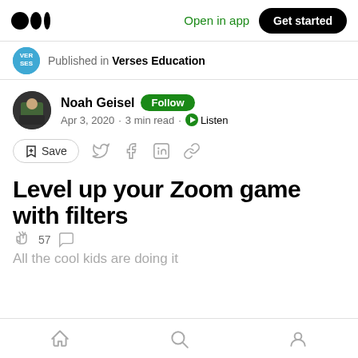Medium logo | Open in app | Get started
Published in Verses Education
Noah Geisel · Follow · Apr 3, 2020 · 3 min read · Listen
Save (with share icons: Twitter, Facebook, LinkedIn, Link)
Level up your Zoom game with filters
57 (claps) · comments
All the cool kids are doing it
Home | Search | Profile (bottom nav)